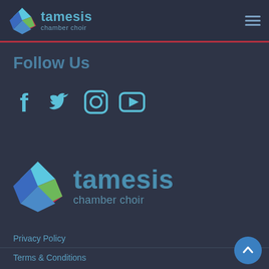tamesis chamber choir
Follow Us
[Figure (illustration): Social media icons: Facebook, Twitter, Instagram, YouTube]
[Figure (logo): Tamesis Chamber Choir logo with diamond icon and text]
Privacy Policy
Terms & Conditions